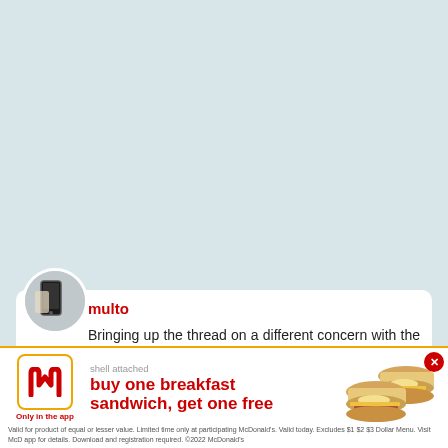[Figure (screenshot): Light blue-gray background area occupying the top portion of the page]
[Figure (photo): Circular avatar thumbnail showing a smartphone/phone device against a light background]
multo
Bringing up the thread on a different concern with the shell. You guys think nfc will be compromised if it's kept on? I know not many people use it but occasionally me and the gf do nfc sharing on our lumias. Just checking if others have tried w
shell attached
[Figure (infographic): McDonald's advertisement banner: McDonald's logo in orange box with 'Only in the app' label, headline 'buy one breakfast sandwich, get one free' in red bold text, image of two breakfast sandwiches, red close/X button]
Valid for product of equal or lesser value. Limited time only at participating McDonald's. Valid today. Excludes $1 $2 $3 Dollar Menu. Visit McD app for details. Download and registration required. ©2022 McDonald's